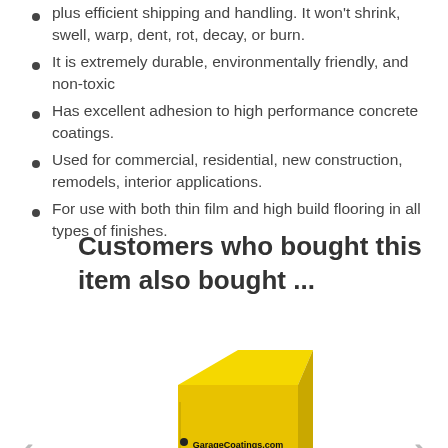plus efficient shipping and handling. It won't shrink, swell, warp, dent, rot, decay, or burn.
It is extremely durable, environmentally friendly, and non-toxic
Has excellent adhesion to high performance concrete coatings.
Used for commercial, residential, new construction, remodels, interior applications.
For use with both thin film and high build flooring in all types of finishes.
Customers who bought this item also bought ...
[Figure (photo): Yellow box product with GarageCoatings.com label]
Blended Flake